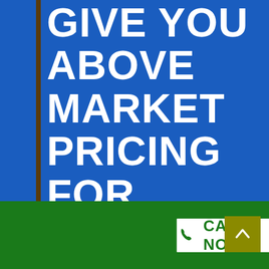GIVE YOU ABOVE MARKET PRICING FOR YOUR RETAIL REAL ESTATE
We Buy Commercial Real Estate in Cedar Hammock Fast No Charges As Well As No Fixes Needed To Sell Your Properties. Guaranteed Sale With A Full Money Offer. No Showings Or Examinations As Well As 0 Days On The Market.
[Figure (other): Green footer bar with white Call Now button featuring phone icon and green arrow-up button]